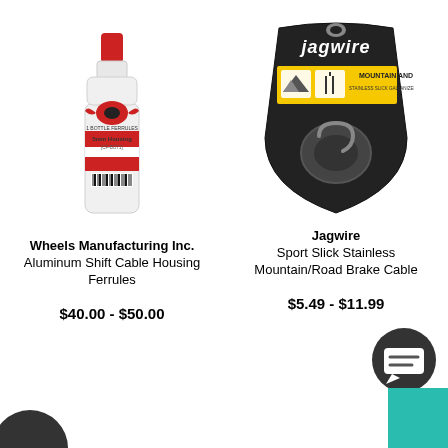[Figure (photo): Bottle of Wheels Manufacturing Inc. Aluminum Shift Cable Housing Ferrules product]
Wheels Manufacturing Inc.
Aluminum Shift Cable Housing Ferrules
$40.00 - $50.00
[Figure (photo): Jagwire Sport Slick Stainless Mountain/Road Brake Cable in black packaging with yellow label]
Jagwire
Sport Slick Stainless Mountain/Road Brake Cable
$5.49 - $11.99